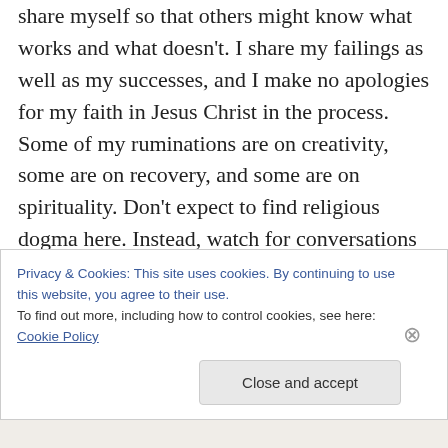share myself so that others might know what works and what doesn't. I share my failings as well as my successes, and I make no apologies for my faith in Jesus Christ in the process. Some of my ruminations are on creativity, some are on recovery, and some are on spirituality. Don't expect to find religious dogma here. Instead, watch for conversations about what it's like to be human, what it means to be a Christian in recovery, to be a Christian in relationship with Christ, and what it means to be creative. We are
Privacy & Cookies: This site uses cookies. By continuing to use this website, you agree to their use.
To find out more, including how to control cookies, see here: Cookie Policy
Close and accept